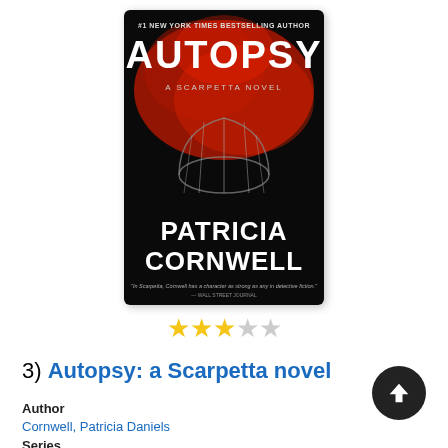[Figure (illustration): Book cover for 'Autopsy: A Scarpetta Novel' by Patricia Cornwell. Dark background with red smoke/splatter, dome-like cage structure, white text 'AUTOPSY' at top, 'A Scarpetta Novel' in small text, 'Patricia Cornwell' in large white/blue letters. '#1 New York Times Bestselling Author' at top.]
[Figure (infographic): Star rating: 3 filled yellow stars and 2 empty/grey stars out of 5]
3)  Autopsy: a Scarpetta novel
Author
Cornwell, Patricia Daniels
Series
Kay Scarpetta mysteries volume 25
Language
English
Appears on list
NYT - Mass Market
Formats
Book, eAudiobook, eBook, Large Type